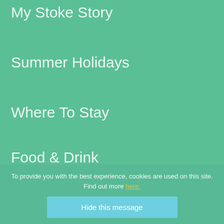My Stoke Story
Summer Holidays
Where To Stay
Food & Drink
Ideas & Inspiration
What's On
To provide you with the best experience, cookies are used on this site. Find out more here.
Hide this message